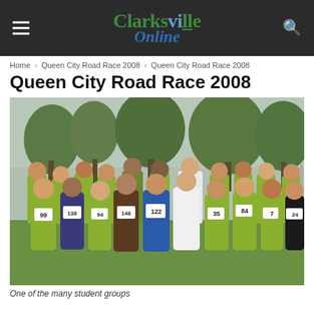Clarksville Online
Home › Queen City Road Race 2008 › Queen City Road Race 2008
Queen City Road Race 2008
[Figure (photo): A large group of children and adults posing outdoors for a race event. Many children wear lime green t-shirts with race bib numbers visible (99, 138, 148, 122, 84, 94, 35, 7, 24, others). Background includes trees and overcast sky. A woman in white jacket and visor stands among the group.]
One of the many student groups